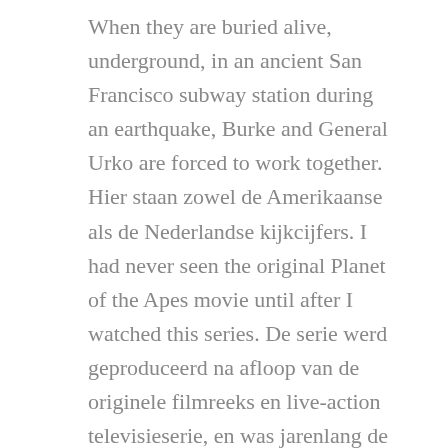When they are buried alive, underground, in an ancient San Francisco subway station during an earthquake, Burke and General Urko are forced to work together. Hier staan zowel de Amerikaanse als de Nederlandse kijkcijfers. I had never seen the original Planet of the Apes movie until after I watched this series. De serie werd geproduceerd na afloop van de originele filmreeks en live-action televisieserie, en was jarenlang de laatste Planet of the Apes-project. The first Planet of the Apes series was in black and white magazine format published by Curtis Magazines. I just recently became a fan of Ron Harper's (love Garrison's Gorillas! Rotten Tomatoes, home of the Tomatometer, is the most trusted measurement of quality for Movies & TV. 1968-2018. 2 years ago | 9.6K views. Own the series on Digital HD, Blu-ray & DVD. Hier vind je de kijkcijfers van de serie Planet of the Apes. Two